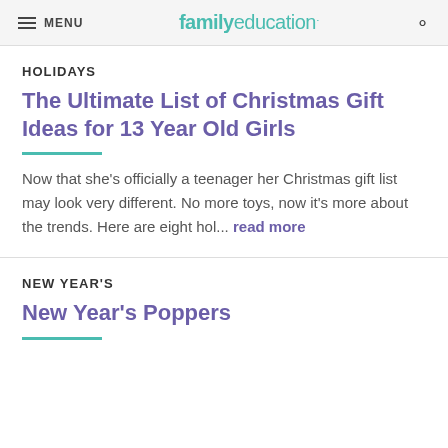MENU | familyeducation
HOLIDAYS
The Ultimate List of Christmas Gift Ideas for 13 Year Old Girls
Now that she’s officially a teenager her Christmas gift list may look very different. No more toys, now it’s more about the trends. Here are eight hol... read more
NEW YEAR'S
New Year's Poppers